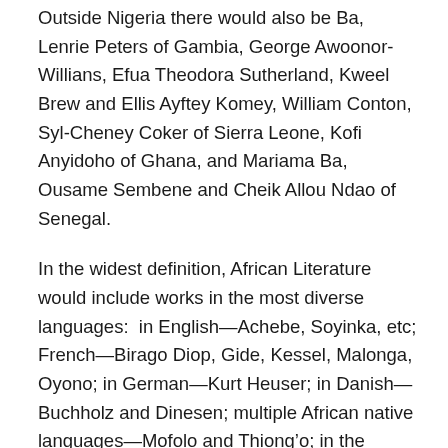Outside Nigeria there would also be Ba, Lenrie Peters of Gambia, George Awoonor-Willians, Efua Theodora Sutherland, Kweel Brew and Ellis Ayftey Komey, William Conton, Syl-Cheney Coker of Sierra Leone, Kofi Anyidoho of Ghana, and Mariama Ba, Ousame Sembene and Cheik Allou Ndao of Senegal.
In the widest definition, African Literature would include works in the most diverse languages:  in English—Achebe, Soyinka, etc; French—Birago Diop, Gide, Kessel, Malonga, Oyono; in German—Kurt Heuser; in Danish—Buchholz and Dinesen; multiple African native languages—Mofolo and Thiong'o; in the English of South Africans—Gordimer, Paton;  and in Afrikaans—Nuthall Fula and Ernst van Heerden." he continued, first stubbing out a Cuban cigar butt and feeling in his sports coat pocket for